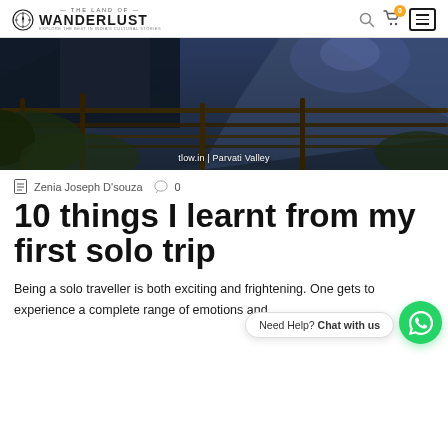THE LAND OF WANDERLUST
[Figure (photo): Mountain landscape with wooden railing/fence in foreground, blue-toned twilight or dusk sky with mountains in background. Caption reads: tlow.in | Parvati Valley]
tlow.in | Parvati Valley
Zenia Joseph D'souza   0
10 things I learnt from my first solo trip
Being a solo traveller is both exciting and frightening. One gets to experience a complete range of emotions and